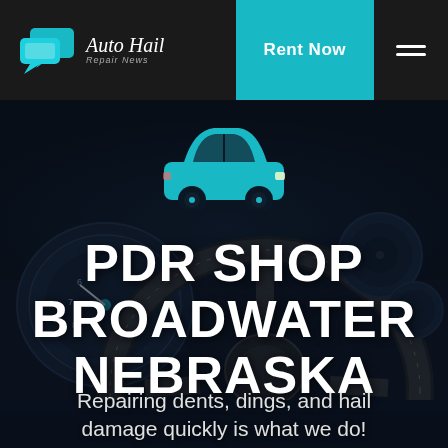Auto Hail Repair News
[Figure (screenshot): Teal Rent Now button]
[Figure (illustration): Hamburger menu icon (three horizontal lines)]
[Figure (photo): Dark car interior background showing steering wheel, dashboard gauges, and controls]
[Figure (illustration): Teal car silhouette icon centered on hero image]
PDR SHOP BROADWATER NEBRASKA
Repairing dents, dings, and hail damage quickly is what we do!